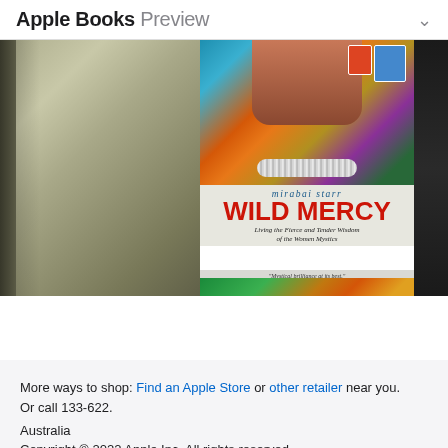Apple Books Preview
[Figure (screenshot): Apple Books preview showing book covers: 'Being You' (2021) - a plain gray/olive book cover, 'Wild Mercy' (2019) by Mirabai Starr with colorful cover showing woman with necklace and red title text, and a partially visible third book]
Being You
2021
Wild Mercy
2019
Ma
20
More ways to shop: Find an Apple Store or other retailer near you.
Or call 133-622.
Australia
Copyright © 2022 Apple Inc. All rights reserved.